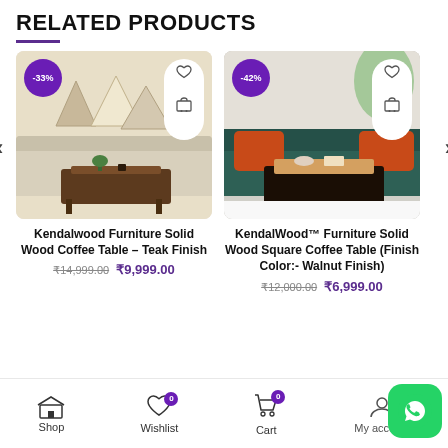RELATED PRODUCTS
[Figure (photo): Product card 1: Kendalwood Furniture Solid Wood Coffee Table Teak Finish, -33% discount badge, wishlist and cart icons, cream sofa room setting]
Kendalwood Furniture Solid Wood Coffee Table – Teak Finish
₹14,999.00 ₹9,999.00
[Figure (photo): Product card 2: KendalWood Furniture Solid Wood Square Coffee Table Walnut Finish, -42% discount badge, wishlist and cart icons, dark green sofa room setting]
KendalWood™ Furniture Solid Wood Square Coffee Table (Finish Color:- Walnut Finish)
₹12,000.00 ₹6,999.00
Shop  Wishlist 0  Cart 0  My account